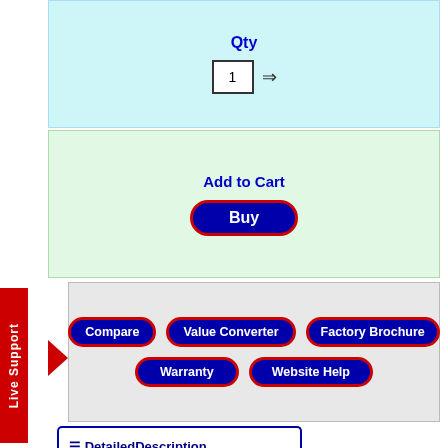Qty
1 →
Add to Cart
Buy
Compare | Value Converter | Factory Brochure | Warranty | Website Help
≡ DetailedDescription
Detailed Description
Print Description
SKU GJJD-030D302:
The GeneratorJoe Model 30 JD3 is a Centurion "J"™ Series generator with 30 kW (38 kVA) 60 Hz, of maximum output. These industrial generators are suitable for standby use. Extended run times will affect warranty coverage. When you need the dependability of an industrial grade generator, with all the features you need, the Centurion "J"™ Series is for you. Available in several models, open and enclosed with multiple options, this series is competitively priced to deliver the performance and value found only on more expensive
Live Support